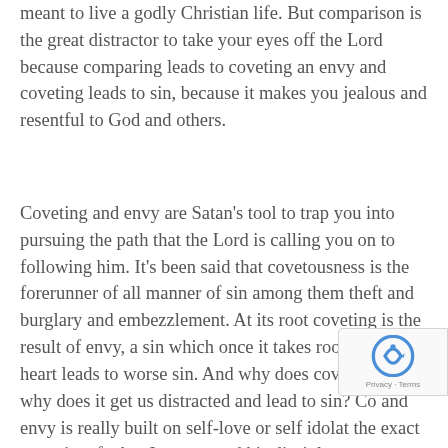meant to live a godly Christian life. But comparison is the great distractor to take your eyes off the Lord because comparing leads to coveting an envy and coveting leads to sin, because it makes you jealous and resentful to God and others.
Coveting and envy are Satan's tool to trap you into pursuing the path that the Lord is calling you on to following him. It's been said that covetousness is the forerunner of all manner of sin among them theft and burglary and embezzlement. At its root coveting is the result of envy, a sin which once it takes root in the heart leads to worse sin. And why does covetousness, why does it get us distracted and lead to sin? Co and envy is really built on self-love or self idolat the exact opposite of what Jesus caused his disciples